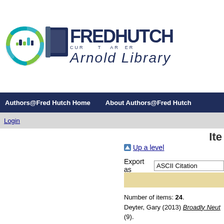[Figure (logo): Fred Hutch Cancer Center Arnold Library logo with circular graphic and stylized book icon]
Authors@Fred Hutch Home   About Authors@Fred Hutch
Login
Ite
▲ Up a level
Export as  ASCII Citation
Number of items: 24. Deyter, Gary (2013) Broadly Neut (9). Deyter, Gary (2013) On the Ancie Deyter, Gary (2013) ARF Constra (8). Deyter, Gary (2013) The Histone (